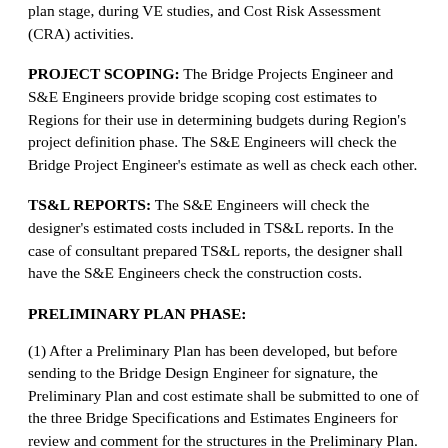plan stage, during VE studies, and Cost Risk Assessment (CRA) activities.
PROJECT SCOPING: The Bridge Projects Engineer and S&E Engineers provide bridge scoping cost estimates to Regions for their use in determining budgets during Region's project definition phase. The S&E Engineers will check the Bridge Project Engineer's estimate as well as check each other.
TS&L REPORTS: The S&E Engineers will check the designer's estimated costs included in TS&L reports. In the case of consultant prepared TS&L reports, the designer shall have the S&E Engineers check the construction costs.
PRELIMINARY PLAN PHASE:
(1) After a Preliminary Plan has been developed, but before sending to the Bridge Design Engineer for signature, the Preliminary Plan and cost estimate shall be submitted to one of the three Bridge Specifications and Estimates Engineers for review and comment for the structures in the Preliminary Plan.
(2) The information presented to the S&E Engineer